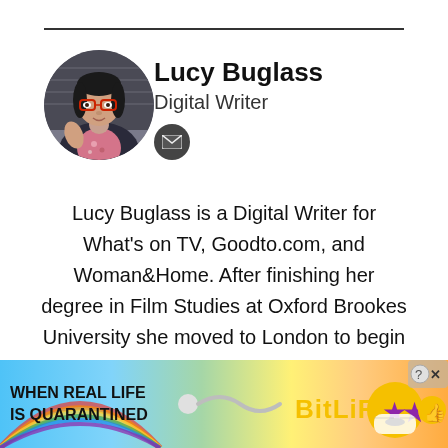[Figure (photo): Circular headshot photo of Lucy Buglass, a woman with glasses and dark hair, wearing a floral top and dark jacket]
Lucy Buglass
Digital Writer
Lucy Buglass is a Digital Writer for What's on TV, Goodto.com, and Woman&Home. After finishing her degree in Film Studies at Oxford Brookes University she moved to London to begin her career. She's passionate about entertainment and spends most of her free time watching Netflix series, BBC dramas, or going to the cinema to catch the latest film releases.
[Figure (infographic): Advertisement banner for BitLife game with rainbow gradient background, text 'WHEN REAL LIFE IS QUARANTINED' and 'BitLife' logo with emoji characters]